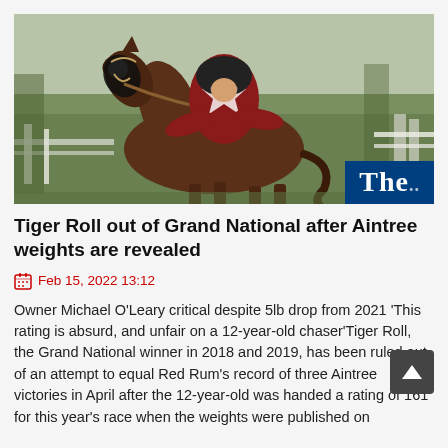[Figure (photo): A racehorse (Tiger Roll) with a jockey in dark red and white silks, mid-race, jumping, with white fence and trees in background. The Guardian logo visible bottom-right corner.]
Tiger Roll out of Grand National after Aintree weights are revealed
Feb 15, 2022 13:12
Owner Michael O'Leary critical despite 5lb drop from 2021 'This rating is absurd, and unfair on a 12-year-old chaser'Tiger Roll, the Grand National winner in 2018 and 2019, has been ruled out of an attempt to equal Red Rum's record of three Aintree victories in April after the 12-year-old was handed a rating of 161 for this year's race when the weights were published on